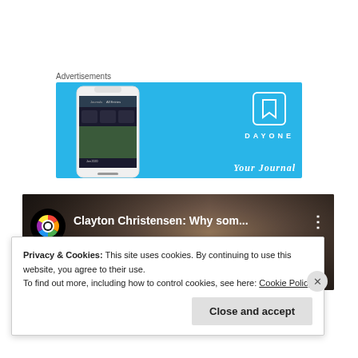Advertisements
[Figure (screenshot): DayOne app advertisement banner with light blue background showing a phone mockup on the left with the DayOne app interface, and the DayOne logo (bookmark icon) with text 'DAYONE' and 'Your Journal' on the right side]
[Figure (screenshot): YouTube video thumbnail showing a person's face with a YouTube channel icon circle on the left, video title 'Clayton Christensen: Why som...' in white text, and a three-dot menu icon on the right]
Privacy & Cookies: This site uses cookies. By continuing to use this website, you agree to their use.
To find out more, including how to control cookies, see here: Cookie Policy
Close and accept